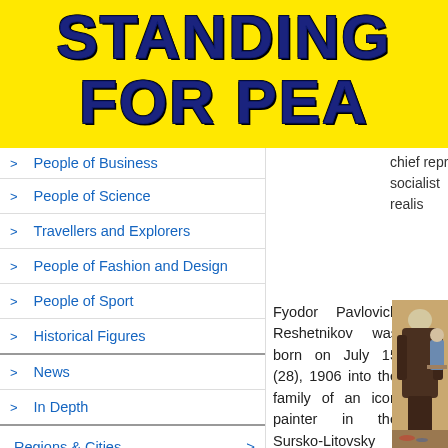STANDING FOR PEACE
People of Business
People of Science
Travellers and Explorers
People of Fashion and Design
People of Sport
Historical Figures
News
In Depth
Regions & Cities
Russia International
Society & Politics
Sports
chief repr socialist realis
Fyodor Pavlovich Reshetnikov was born on July 15 (28), 1906 into the family of an icon painter in the Sursko-Litovsky Village of the Yekaterinoslavsky Province of the
[Figure (photo): Painting showing a figure viewed from behind, an older person in dark clothing standing, with another figure seated at a table in the background.]